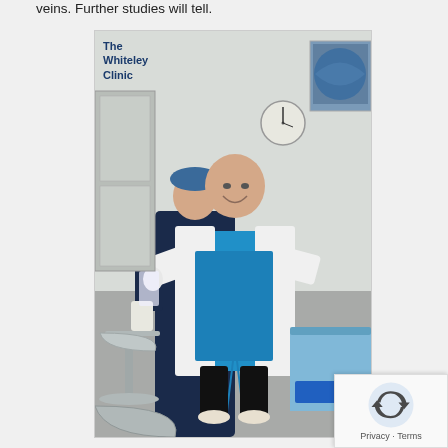veins. Further studies will tell.
[Figure (photo): A doctor/surgeon in blue scrubs and a white lab coat standing in a medical procedure room. Another medical staff member is visible in the background wearing a blue surgical cap. Medical equipment including a metal stool/basin stand is visible. The image has 'The Whiteley Clinic' text overlay in the upper left.]
[Figure (logo): reCAPTCHA privacy badge showing Google reCAPTCHA icon with 'Privacy - Terms' text]